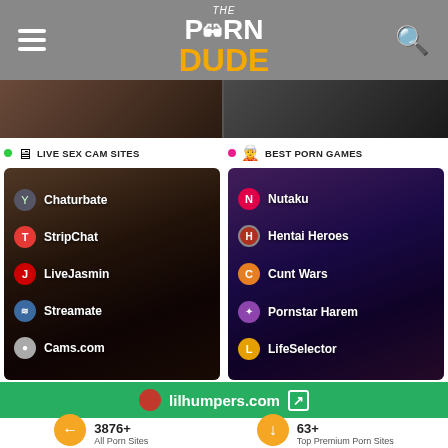THE PORN DUDE
[Figure (screenshot): Two blurred thumbnail images side by side]
LIVE SEX CAM SITES
BEST PORN GAMES
[Figure (screenshot): Live Sex Cam Sites panel with Chaturbate, StripChat, LiveJasmin, Streamate, Cams.com]
[Figure (screenshot): Best Porn Games panel with Nutaku, Hentai Heroes, Cunt Wars, Pornstar Harem, LifeSelector]
lilhumpers.com
3876+
All Porn Sites
63+
Top Premium Porn Sites